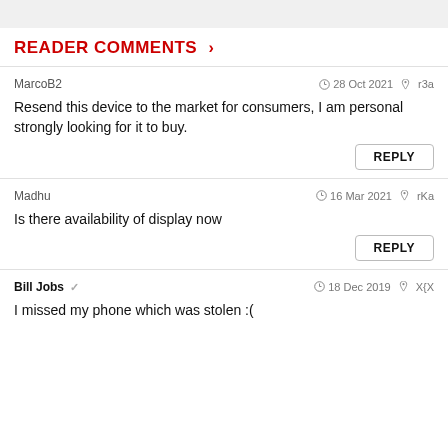READER COMMENTS ›
MarcoB2   28 Oct 2021   r3a
Resend this device to the market for consumers, I am personal strongly looking for it to buy.
Madhu   16 Mar 2021   rKa
Is there availability of display now
Bill Jobs   18 Dec 2019   X{X
I missed my phone which was stolen :(